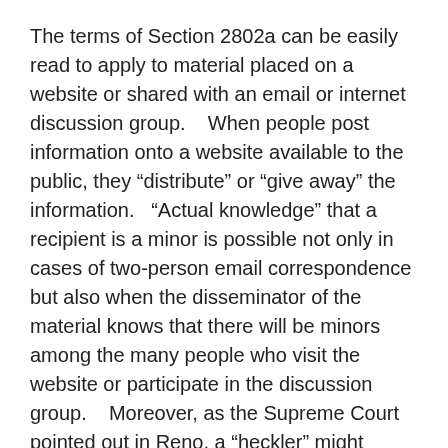The terms of Section 2802a can be easily read to apply to material placed on a website or shared with an email or internet discussion group.    When people post information onto a website available to the public, they “distribute” or “give away” the information.   “Actual knowledge” that a recipient is a minor is possible not only in cases of two-person email correspondence but also when the disseminator of the material knows that there will be minors among the many people who visit the website or participate in the discussion group.    Moreover, as the Supreme Court pointed out in Reno, a “heckler” might provide “knowledge” by announcing that a minor would be looking at the website or participating in the discussion group.   521 U.S. at 880, 117 S.Ct. 2329.    Appellants point to no decisions of the Vermont Supreme Court that suggest to us that that court would construe the statute differently.
II.    Standing